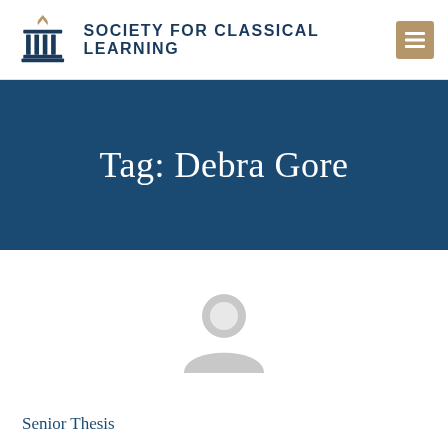SOCIETY FOR CLASSICAL LEARNING
Tag: Debra Gore
[Figure (illustration): Generic user avatar placeholder icon in light gray, showing a silhouette of a person (head and shoulders)]
Senior Thesis